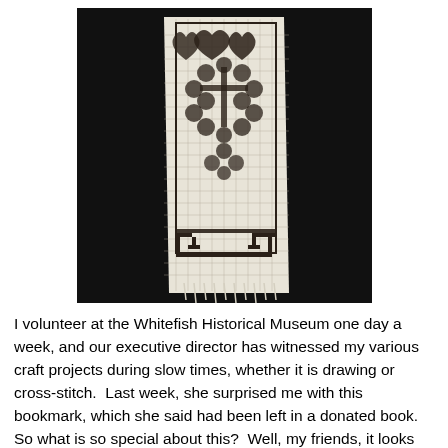[Figure (photo): A cross-stitch bookmark on white canvas fabric, photographed against a black background. The bookmark features a floral/heart pattern with decorative border at the bottom, showing ornate cross-stitch needlework.]
I volunteer at the Whitefish Historical Museum one day a week, and our executive director has witnessed my various craft projects during slow times, whether it is drawing or cross-stitch.  Last week, she surprised me with this bookmark, which she said had been left in a donated book.  So what is so special about this?  Well, my friends, it looks the same on the front AND THE BACK.  No knots, or crossing the thread to another section, and it is one piece of